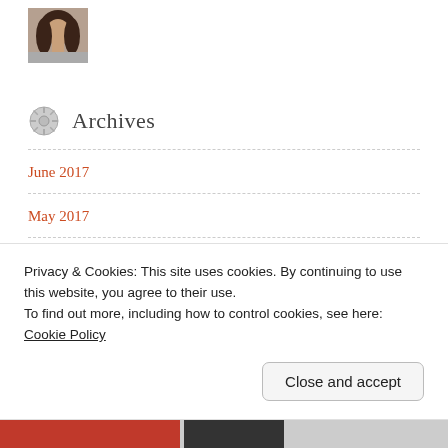[Figure (photo): Small profile photo of a woman with dark hair in upper left corner]
Archives
June 2017
May 2017
April 2017
March 2017
February 2017
Privacy & Cookies: This site uses cookies. By continuing to use this website, you agree to their use.
To find out more, including how to control cookies, see here: Cookie Policy
Close and accept